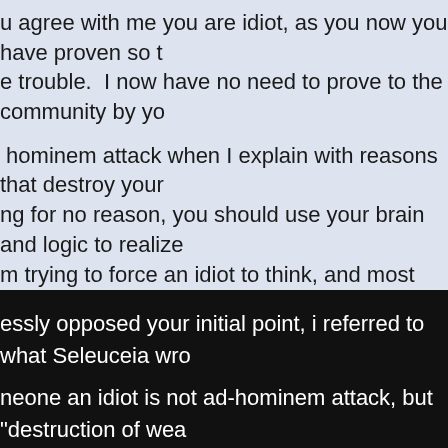u agree with me you are idiot, as you now you have proven so t e trouble.  I now have no need to prove to the community by yo
hominem attack when I explain with reasons that destroy your  ng for no reason, you should use your brain and logic to realize  m trying to force an idiot to think, and most everyone with some s.
r open, yet personal discussion is aside, and everyone can see  more people want to debate the issue with me?
essly opposed your initial point, i referred to what Seleuceia wro
neone an idiot is not ad-hominem attack, but "destruction of wea
here are dozens of people impatient to debate with you, especia